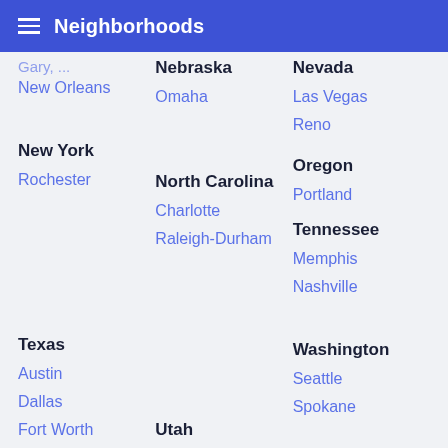Neighborhoods
New Orleans
Nebraska
Omaha
Nevada
Las Vegas
Reno
New York
Rochester
North Carolina
Charlotte
Raleigh-Durham
Oregon
Portland
Tennessee
Memphis
Nashville
Texas
Austin
Dallas
Fort Worth
Houston
Utah
Salt Lake City
Washington
Seattle
Spokane